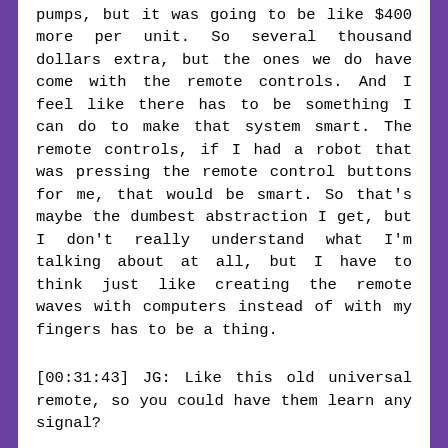pumps, but it was going to be like $400 more per unit. So several thousand dollars extra, but the ones we do have come with the remote controls. And I feel like there has to be something I can do to make that system smart. The remote controls, if I had a robot that was pressing the remote control buttons for me, that would be smart. So that's maybe the dumbest abstraction I get, but I don't really understand what I'm talking about at all, but I have to think just like creating the remote waves with computers instead of with my fingers has to be a thing.
[00:31:43] JG: Like this old universal remote, so you could have them learn any signal?
[00:31:47] BH: Yeah. I don't really know how remote control protocols really work, but I imagine they're not very complicated if they've been around so long. So I don't